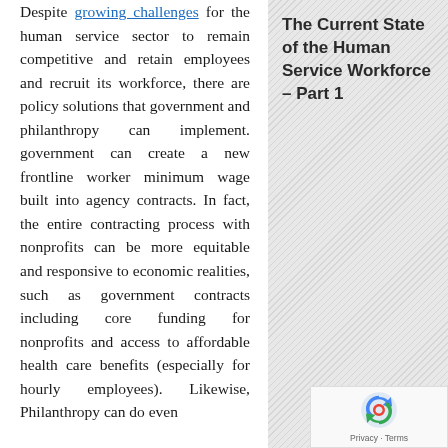Despite growing challenges for the human service sector to remain competitive and retain employees and recruit its workforce, there are policy solutions that government and philanthropy can implement. government can create a new frontline worker minimum wage built into agency contracts. In fact, the entire contracting process with nonprofits can be more equitable and responsive to economic realities, such as government contracts including core funding for nonprofits and access to affordable health care benefits (especially for hourly employees). Likewise, Philanthropy can do even
The Current State of the Human Service Workforce – Part 1